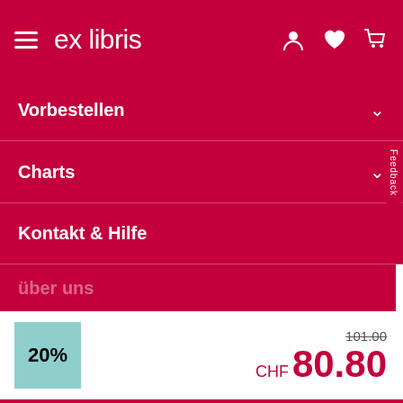ex libris
Vorbestellen
Charts
Kontakt & Hilfe
über uns
20%
101.00
CHF 80.80
In den Warenkorb